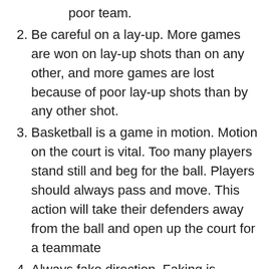poor team.
Be careful on a lay-up. More games are won on lay-up shots than on any other, and more games are lost because of poor lay-up shots than by any other shot.
Basketball is a game in motion. Motion on the court is vital. Too many players stand still and beg for the ball. Players should always pass and move. This action will take their defenders away from the ball and open up the court for a teammate
Always fake direction. Faking is important because it tricks opponents into making mistakes
Move to meet the pass. Moving and meeting